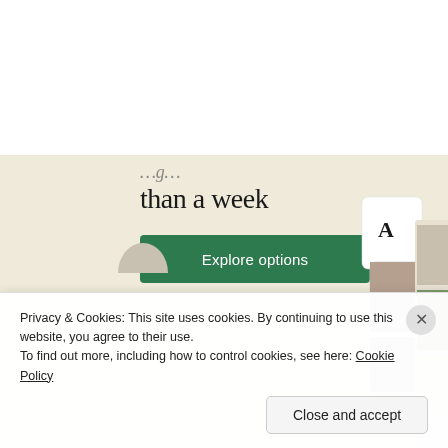[Figure (screenshot): Partial screenshot of a website with a beige/cream background showing partial heading text 'than a week', a green 'Explore options' button, and app mockup screenshots on the right side showing food and recipe content with an 'A' logo card.]
Privacy & Cookies: This site uses cookies. By continuing to use this website, you agree to their use.
To find out more, including how to control cookies, see here: Cookie Policy
Close and accept